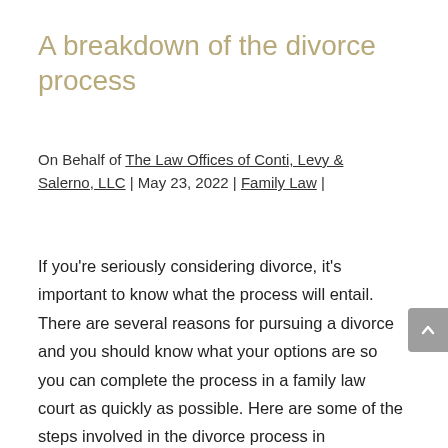A breakdown of the divorce process
On Behalf of The Law Offices of Conti, Levy & Salerno, LLC | May 23, 2022 | Family Law |
If you're seriously considering divorce, it's important to know what the process will entail. There are several reasons for pursuing a divorce and you should know what your options are so you can complete the process in a family law court as quickly as possible. Here are some of the steps involved in the divorce process in